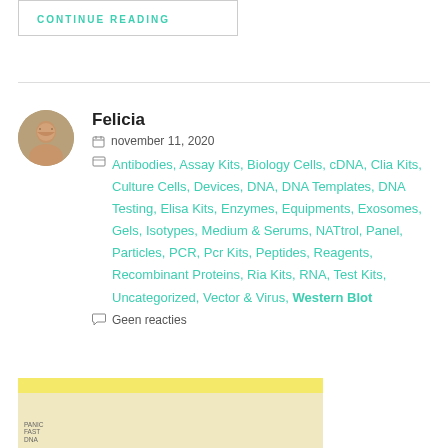CONTINUE READING
Felicia
november 11, 2020
Antibodies, Assay Kits, Biology Cells, cDNA, Clia Kits, Culture Cells, Devices, DNA, DNA Templates, DNA Testing, Elisa Kits, Enzymes, Equipments, Exosomes, Gels, Isotypes, Medium & Serums, NATtrol, Panel, Particles, PCR, Pcr Kits, Peptides, Reagents, Recombinant Proteins, Ria Kits, RNA, Test Kits, Uncategorized, Vector & Virus, Western Blot
Geen reacties
[Figure (photo): A yellow and cream colored package or lab kit]